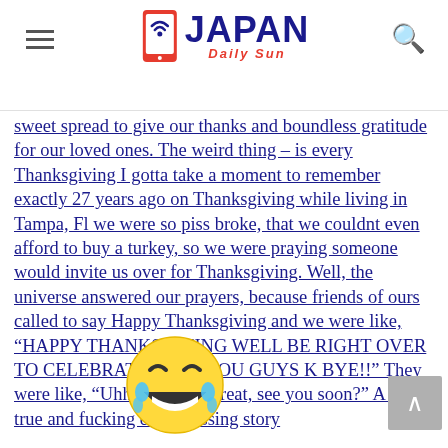Japan Daily Sun
sweet spread to give our thanks and boundless gratitude for our loved ones. The weird thing – is every Thanksgiving I gotta take a moment to remember exactly 27 years ago on Thanksgiving while living in Tampa, Fl we were so piss broke, that we couldnt even afford to buy a turkey, so we were praying someone would invite us over for Thanksgiving. Well, the universe answered our prayers, because friends of ours called to say Happy Thanksgiving and we were like, "HAPPY THANKSGIVING WELL BE RIGHT OVER TO CELEBRATE WITH YOU GUYS K BYE!!" They were like, "Uhhh okaaaay great, see you soon?" A Very true and fucking embarrassing story
[Figure (illustration): Laughing/crying tears of joy emoji]